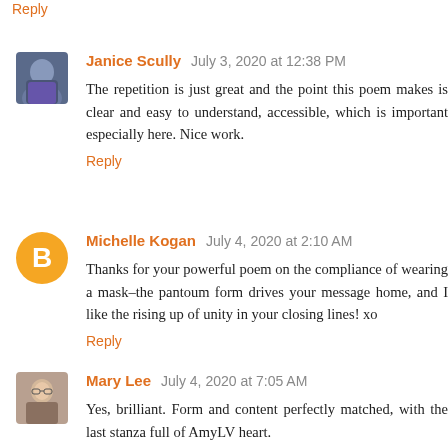Reply
Janice Scully  July 3, 2020 at 12:38 PM
The repetition is just great and the point this poem makes is clear and easy to understand, accessible, which is important especially here. Nice work.
Reply
Michelle Kogan  July 4, 2020 at 2:10 AM
Thanks for your powerful poem on the compliance of wearing a mask–the pantoum form drives your message home, and I like the rising up of unity in your closing lines! xo
Reply
Mary Lee  July 4, 2020 at 7:05 AM
Yes, brilliant. Form and content perfectly matched, with the last stanza full of AmyLV heart.
Reply